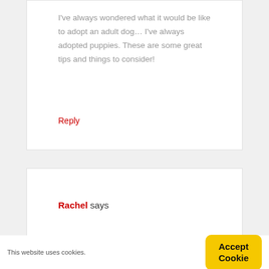I've always wondered what it would be like to adopt an adult dog… I've always adopted puppies. These are some great tips and things to consider!
Reply
Rachel says
This website uses cookies.